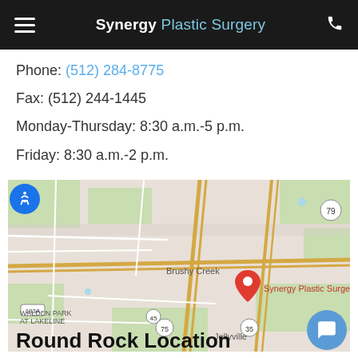Synergy Plastic Surgery
Phone: (512) 284-8775
Fax: (512) 244-1445
Monday-Thursday: 8:30 a.m.-5 p.m.
Friday: 8:30 a.m.-2 p.m.
[Figure (map): Google Maps screenshot showing location pin for Synergy Plastic Surgery near Brushy Creek, with Jollyville and Walden Park at Lakeline visible. Roads including route 79, 183A, 35, and 130 shown.]
Round Rock Location